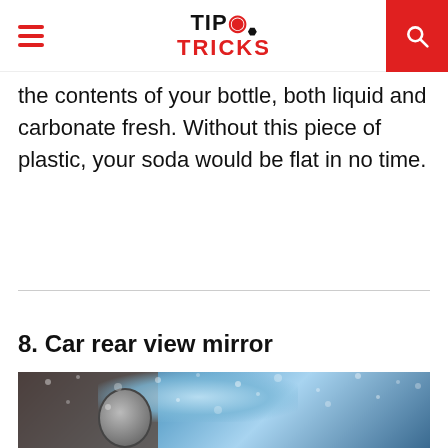TIP TRICKS
the contents of your bottle, both liquid and carbonate fresh. Without this piece of plastic, your soda would be flat in no time.
8. Car rear view mirror
[Figure (photo): A car rear view mirror viewed from inside the car, with raindrops visible on the windshield and a blue-toned rainy background.]